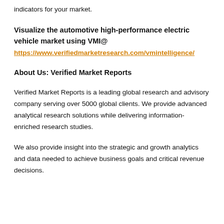indicators for your market.
Visualize the automotive high-performance electric vehicle market using VMI@ https://www.verifiedmarketresearch.com/vmintelligence/
About Us: Verified Market Reports
Verified Market Reports is a leading global research and advisory company serving over 5000 global clients. We provide advanced analytical research solutions while delivering information-enriched research studies.
We also provide insight into the strategic and growth analytics and data needed to achieve business goals and critical revenue decisions.